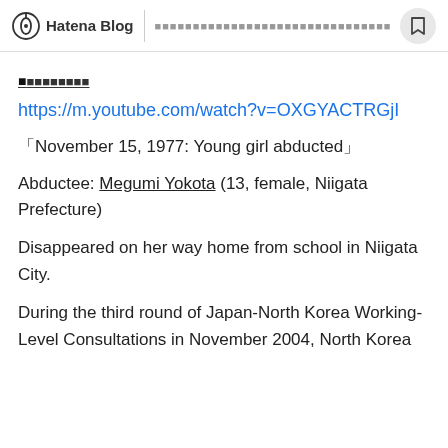Hatena Blog | ■■■■■■■■■■■■■■■■■■■■■■■■■■■■
■■■■■■■■■
https://m.youtube.com/watch?v=OXGYACTRGjI
「November 15, 1977: Young girl abducted」
Abductee: Megumi Yokota (13, female, Niigata Prefecture)
Disappeared on her way home from school in Niigata City.
During the third round of Japan-North Korea Working-Level Consultations in November 2004, North Korea